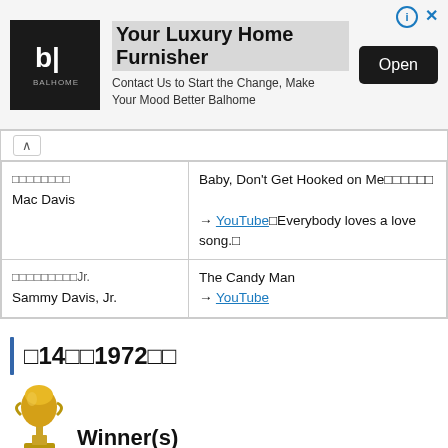[Figure (other): Advertisement banner for Balhome luxury home furnisher with logo, text, and Open button]
| □□□□□□□□
Mac Davis | Baby, Don't Get Hooked on Me□□□□□□
→ YouTube□Everybody loves a love song.□ |
| □□□□□□□□□Jr.
Sammy Davis, Jr. | The Candy Man
→ YouTube |
□14□□1972□□
[Figure (other): Grammy trophy icon next to Winner(s) heading]